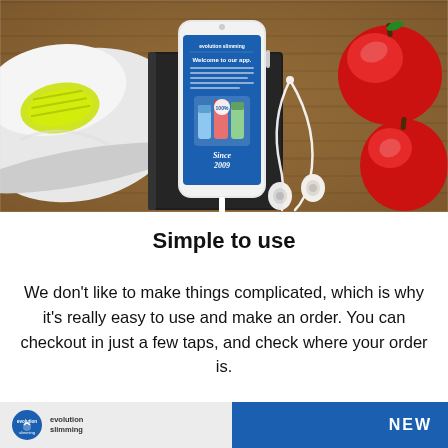[Figure (photo): Flat lay photo on a wooden surface showing white athletic sneakers with yellow laces on the left, a smartphone displaying an Evolution Slimming app welcome screen placed on a dark notebook in the center, white earphones to the right, and two red apples in the top right corner. A white charging cable hangs from the bottom of the phone.]
Simple to use
We don't like to make things complicated, which is why it's really easy to use and make an order. You can checkout in just a few taps, and check where your order is.
[Figure (screenshot): Bottom strip showing Evolution Slimming branding on the left half (light grey background) and a blue panel on the right with the word NEW in white bold letters.]